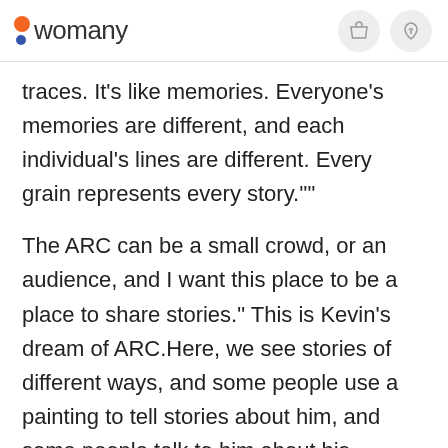womany
traces. It's like memories. Everyone's memories are different, and each individual's lines are different. Every grain represents every story.""
The ARC can be a small crowd, or an audience, and I want this place to be a place to share stories." This is Kevin's dream of ARC.Here, we see stories of different ways, and some people use a painting to tell stories about him, and some people talk to him about his stories, and people talk about his stories with concerts." The lines of the armor stretch to a different story, together with the story of everyone." This is the reason for public